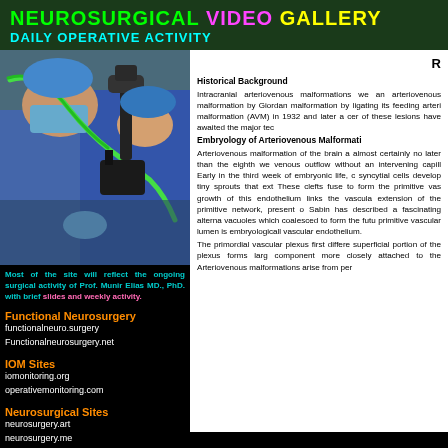NEUROSURGICAL VIDEO GALLERY
DAILY OPERATIVE ACTIVITY
[Figure (photo): Surgical scene showing surgeons in blue gowns and masks performing neurosurgery, with a green flexible tube/catheter visible and surgical microscope equipment.]
Most of the site will reflect the ongoing surgical activity of Prof. Munir Elias MD., PhD. with brief slides and weekly activity.
Functional Neurosurgery
functionalneuro.surgery
Functionalneurosurgery.net
IOM Sites
iomonitoring.org
operativemonitoring.com
Neurosurgical Sites
neurosurgery.art
neurosurgery.me
Historical Background
Intracranial arteriovenous malformations we an arteriovenous malformation by Giordar malformation by ligating its feeding arteri malformation (AVM) in 1932 and later a ce of these lesions have awaited the major tec
Embryology of Arteriovenous Malformati
Arteriovenous malformation of the brain a almost certainly no later than the eighth we venous outflow without an intervening capill Early in the third week of embryonic life, c syncytial cells develop tiny sprouts that ext These clefts fuse to form the primitive va growth of this endothelium links the vascula extension of the primitive network, present Sabin has described a fascinating alternat vacuoles which coalesced to form the futu primitive vascular lumen is embryologicall vascular endothelium.
The primordial vascular plexus first differe superficial portion of the plexus forms larg component more closely attached to the Arteriovenous malformations arise from pe